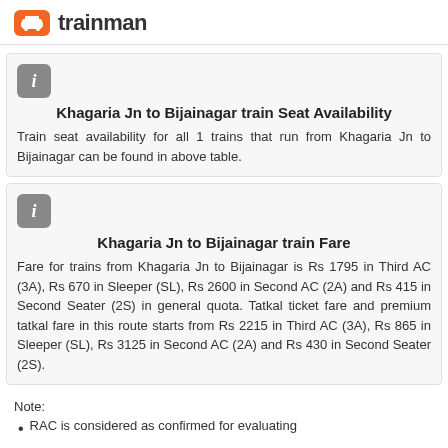tm trainman
Khagaria Jn to Bijainagar train Seat Availability
Train seat availability for all 1 trains that run from Khagaria Jn to Bijainagar can be found in above table.
Khagaria Jn to Bijainagar train Fare
Fare for trains from Khagaria Jn to Bijainagar is Rs 1795 in Third AC (3A), Rs 670 in Sleeper (SL), Rs 2600 in Second AC (2A) and Rs 415 in Second Seater (2S) in general quota. Tatkal ticket fare and premium tatkal fare in this route starts from Rs 2215 in Third AC (3A), Rs 865 in Sleeper (SL), Rs 3125 in Second AC (2A) and Rs 430 in Second Seater (2S).
Note:
RAC is considered as confirmed for evaluating